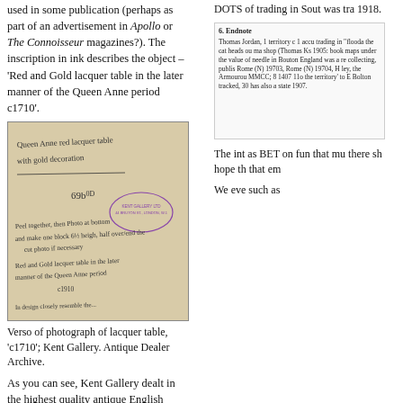used in some publication (perhaps as part of an advertisement in Apollo or The Connoisseur magazines?). The inscription in ink describes the object – 'Red and Gold lacquer table in the later manner of the Queen Anne period c1710'.
[Figure (photo): Verso of a photograph showing handwritten notes about a Queen Anne red lacquer table with gold decoration, price notation '69b0D', instructions about photos, and a Kent Gallery Ltd stamp from 44 Bruton St, London W.1.]
Verso of photograph of lacquer table, 'c1710'; Kent Gallery. Antique Dealer Archive.
As you can see, Kent Gallery dealt in the highest quality antique English furniture in the period. The Kent Galley photograph albums
DOTS of trading in Sout was tra 1918.
[Figure (screenshot): Small inset image of a text document/article, partially visible, appears to be a footnote or reference section with dense small text.]
The int as BET on fun that mu there sh hope th that em
We eve such as